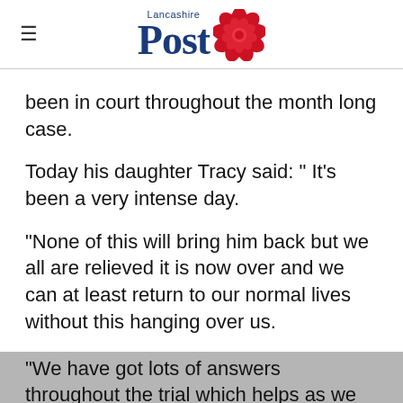Lancashire Post
been in court throughout the month long case.
Today his daughter Tracy said: " It's been a very intense day.
"None of this will bring him back but we all are relieved it is now over and we can at least return to our normal lives without this hanging over us.
"We have got lots of answers throughout the trial which helps as we knew very little about the accident in which our dad lost his life whilst